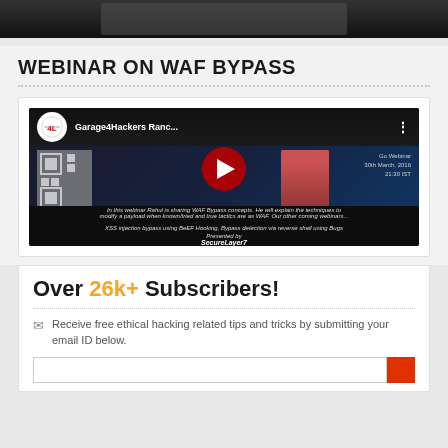[Figure (screenshot): Partial top image showing dark background, cropped at top of page]
WEBINAR ON WAF BYPASS
[Figure (screenshot): YouTube video thumbnail for Garage4Hackers Ranc... webinar on WAF bypass, with play button, QR code, channel icon, and text overlays]
Over 26k+ Subscribers!
Receive free ethical hacking related tips and tricks by submitting your email ID below.